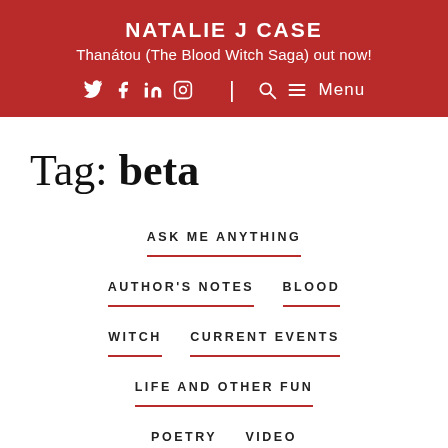NATALIE J CASE
Thanátou (The Blood Witch Saga) out now!
Tag: beta
ASK ME ANYTHING
AUTHOR'S NOTES
BLOOD WITCH
CURRENT EVENTS
LIFE AND OTHER FUN
POETRY
VIDEO